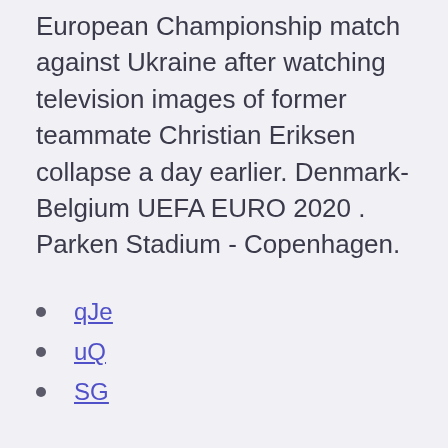European Championship match against Ukraine after watching television images of former teammate Christian Eriksen collapse a day earlier. Denmark-Belgium UEFA EURO 2020 . Parken Stadium - Copenhagen.
qJe
uQ
SG